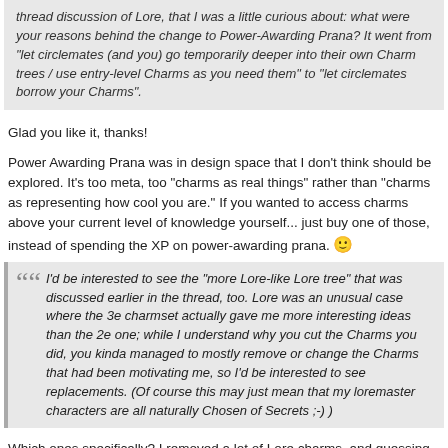thread discussion of Lore, that I was a little curious about: what were your reasons behind the change to Power-Awarding Prana? It went from "let circlemates (and you) go temporarily deeper into their own Charm trees / use entry-level Charms as you need them" to "let circlemates borrow your Charms".
Glad you like it, thanks!
Power Awarding Prana was in design space that I don't think should be explored. It's too meta, too "charms as real things" rather than "charms as representing how cool you are." If you wanted to access charms above your current level of knowledge yourself... just buy one of those, instead of spending the XP on power-awarding prana. 🙂
I'd be interested to see the "more Lore-like Lore tree" that was discussed earlier in the thread, too. Lore was an unusual case where the 3e charmset actually gave me more interesting ideas than the 2e one; while I understand why you cut the Charms you did, you kinda managed to mostly remove or change the Charms that had been motivating me, so I'd be interested to see replacements. (Of course this may just mean that my loremaster characters are all naturally Chosen of Secrets ;-) )
Which ones specifically? I removed a lot of Lore charms, and guessing wildly which ones you liked doesn't seem that helpful. I don't want to remove things that actually inspired people, just all the extra